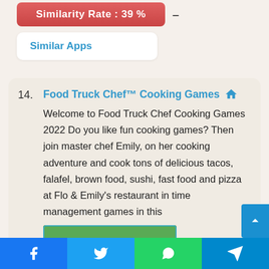Similarity Rate : 39 %
Similar Apps
14. Food Truck Chef™ Cooking Games  Welcome to Food Truck Chef Cooking Games 2022 Do you like fun cooking games? Then join master chef Emily, on her cooking adventure and cook tons of delicious tacos, falafel, brown food, sushi, fast food and pizza at Flo & Emily's restaurant in time management games in this
[Figure (screenshot): Screenshot of Food Truck Chef Cooking Games showing animated chef characters at a food stall with various food items]
Facebook  Twitter  WhatsApp  Telegram